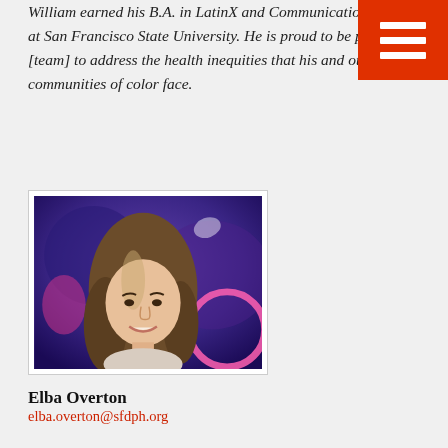William earned his B.A. in LatinX and Communication Studies at San Francisco State University. He is proud to be part of [team] to address the health inequities that his and other communities of color face.
[Figure (photo): Headshot photo of Elba Overton, a young woman with long brown hair, smiling, in front of a colorful mural background]
Elba Overton
elba.overton@sfdph.org
Elba obtained a Bachelors of Science in Nursing and a Public Health Nurse certificate from the University of San Francisco. Elba is passionate about clinical research and fighting health disparities.